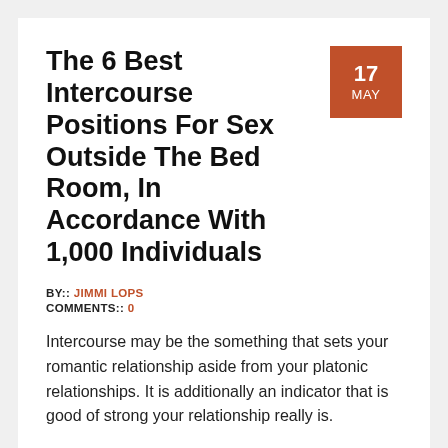The 6 Best Intercourse Positions For Sex Outside The Bed Room, In Accordance With 1,000 Individuals
BY:: JIMMI LOPS
COMMENTS:: 0
Intercourse may be the something that sets your romantic relationship aside from your platonic relationships. It is additionally an indicator that is good of strong your relationship really is.
But did you know for which you have sexual